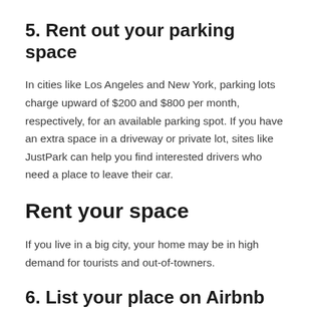5. Rent out your parking space
In cities like Los Angeles and New York, parking lots charge upward of $200 and $800 per month, respectively, for an available parking spot. If you have an extra space in a driveway or private lot, sites like JustPark can help you find interested drivers who need a place to leave their car.
Rent your space
If you live in a big city, your home may be in high demand for tourists and out-of-towners.
6. List your place on Airbnb
If it works with your schedule, consider renting out your